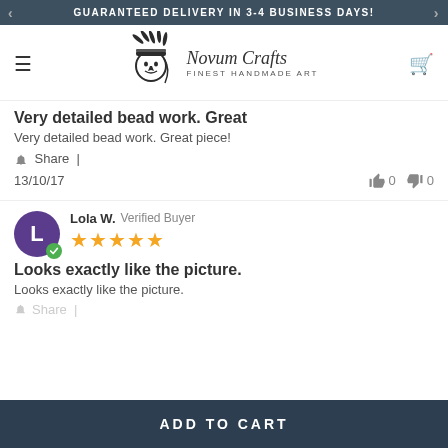GUARANTEED DELIVERY IN 3-4 BUSINESS DAYS!
[Figure (logo): Novum Crafts - Finest Handmade Art logo with Native American chief headdress illustration]
Very detailed bead work. Great
Very detailed bead work. Great piece!
Share |
13/10/17  👍 0  👎 0
Lola W.  Verified Buyer  ★★★★★
Looks exactly like the picture.
Looks exactly like the picture.
Share |
ADD TO CART